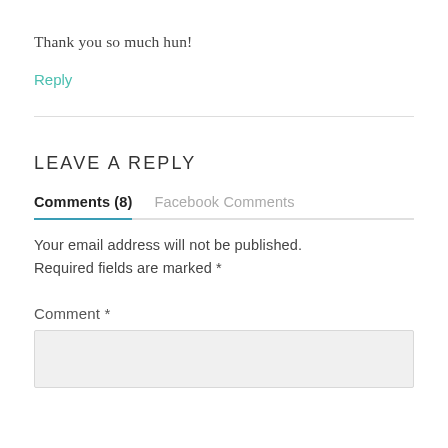Thank you so much hun!
Reply
LEAVE A REPLY
Comments (8)   Facebook Comments
Your email address will not be published. Required fields are marked *
Comment *